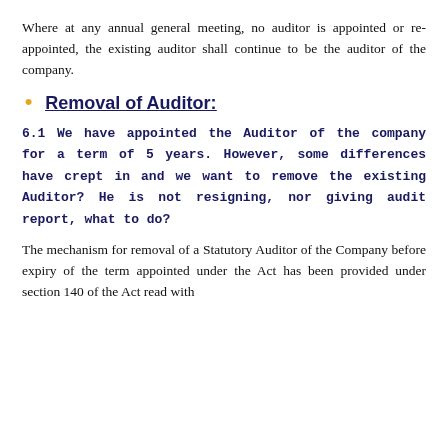Where at any annual general meeting, no auditor is appointed or re-appointed, the existing auditor shall continue to be the auditor of the company.
Removal of Auditor:
6.1 We have appointed the Auditor of the company for a term of 5 years. However, some differences have crept in and we want to remove the existing Auditor? He is not resigning, nor giving audit report, what to do?
The mechanism for removal of a Statutory Auditor of the Company before expiry of the term appointed under the Act has been provided under section 140 of the Act read with